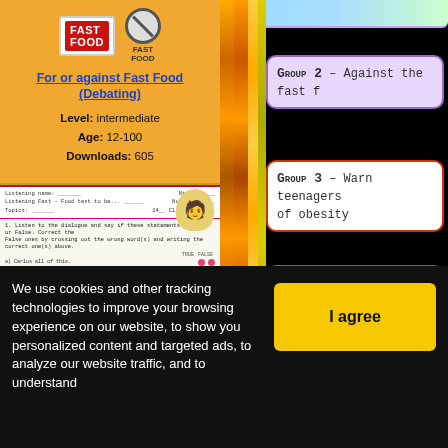[Figure (screenshot): Fast Food worksheet preview with red FAST FOOD logo and no-fast-food icon]
For or against Fast Food (Debating)
Level: intermediate
Age: 12-100
Downloads: 605
[Figure (screenshot): Worksheet preview showing listening exercise with true/false questions and dot answer options]
Group 2 – Against the fast f[ood]
Group 3 – Warn teenagers [about the dangers] of obesity
Group 4 – Present solutions [to the] issue
[Figure (screenshot): Video thumbnail showing people with text 'How to Celebrate' and play button]
We use cookies and other tracking technologies to improve your browsing experience on our website, to show you personalized content and targeted ads, to analyze our website traffic, and to understand
I agree